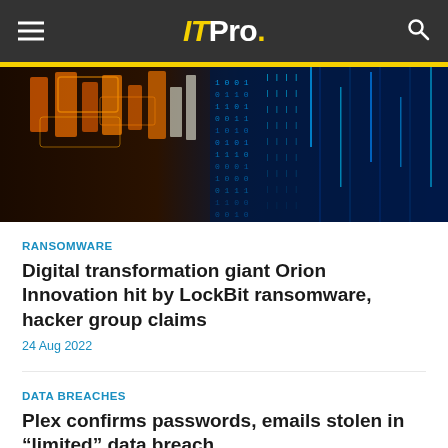ITPro.
[Figure (photo): Hero image of digital cybersecurity data streams — glowing orange CPU-like structures on the left and cascading blue binary/matrix code on the right against a dark background.]
RANSOMWARE
Digital transformation giant Orion Innovation hit by LockBit ransomware, hacker group claims
24 Aug 2022
DATA BREACHES
Plex confirms passwords, emails stolen in “limited” data breach